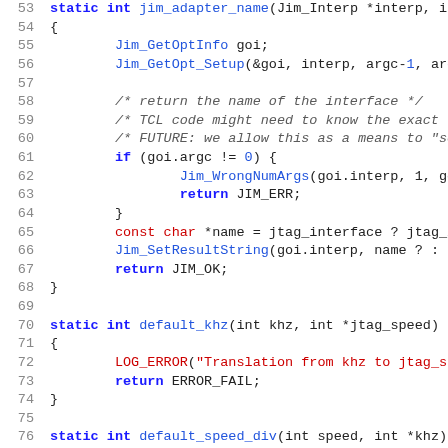[Figure (screenshot): Source code screenshot showing C code with syntax highlighting. Lines 53-85 of a C file showing functions: jim_adapter_name, default_khz, default_speed_div, default_power_dropout. Line numbers in gray on left, keywords in bold blue, function names in blue, strings in red, comments in italic gray.]